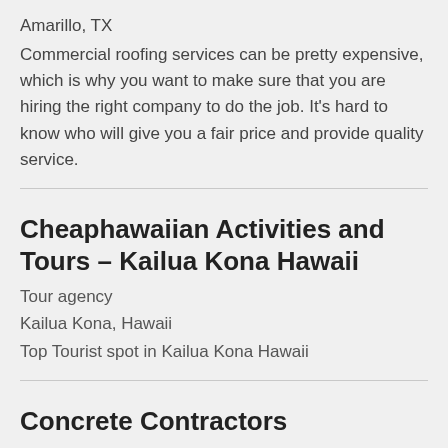Amarillo, TX
Commercial roofing services can be pretty expensive, which is why you want to make sure that you are hiring the right company to do the job. It’s hard to know who will give you a fair price and provide quality service.
Cheaphawaiian Activities and Tours – Kailua Kona Hawaii
Tour agency
Kailua Kona, Hawaii
Top Tourist spot in Kailua Kona Hawaii
Concrete Contractors